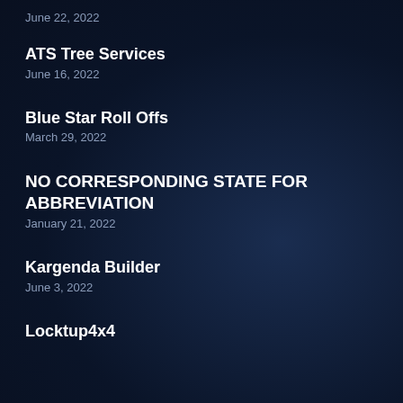June 22, 2022
ATS Tree Services
June 16, 2022
Blue Star Roll Offs
March 29, 2022
NO CORRESPONDING STATE FOR ABBREVIATION
January 21, 2022
Kargenda Builder
June 3, 2022
Locktup4x4